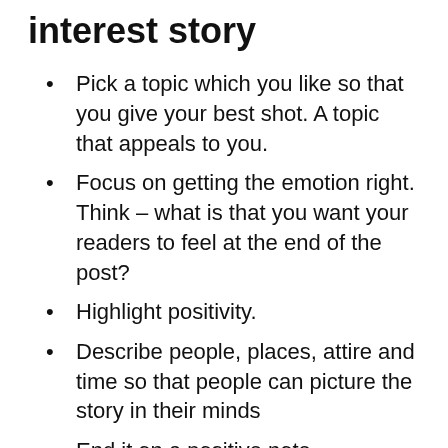interest story
Pick a topic which you like so that you give your best shot. A topic that appeals to you.
Focus on getting the emotion right. Think – what is that you want your readers to feel at the end of the post?
Highlight positivity.
Describe people, places, attire and time so that people can picture the story in their minds
End it on a positive note
Why Page 3 articles in